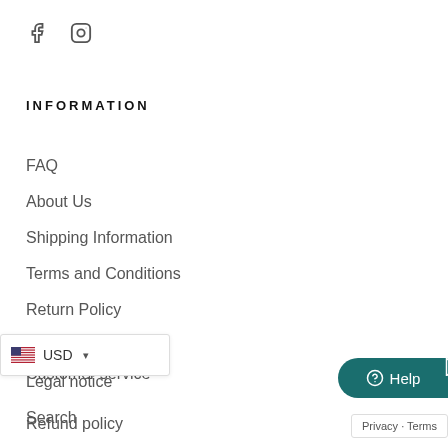[Figure (other): Social media icons: Facebook (f) and Instagram (circle with camera outline)]
INFORMATION
FAQ
About Us
Shipping Information
Terms and Conditions
Return Policy
Privacy Policy
Legal notice
Search
Customer service
Refund policy
[Figure (other): USD currency selector with US flag and dropdown arrow]
[Figure (other): Help button (teal, rounded) with question mark icon]
Privacy · Terms